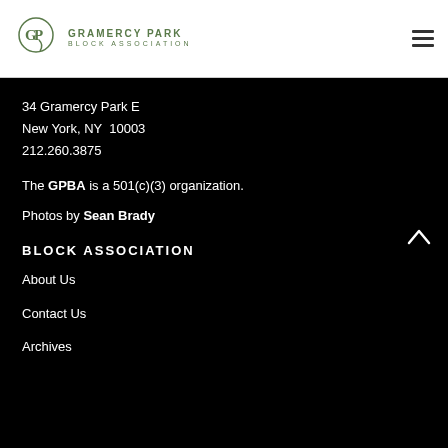[Figure (logo): Gramercy Park Block Association logo — circular GP monogram above text GRAMERCY PARK / BLOCK ASSOCIATION in green]
34 Gramercy Park E
New York, NY  10003
212.260.3875
The GPBA is a 501(c)(3) organization.
Photos by Sean Brady
BLOCK ASSOCIATION
About Us
Contact Us
Archives